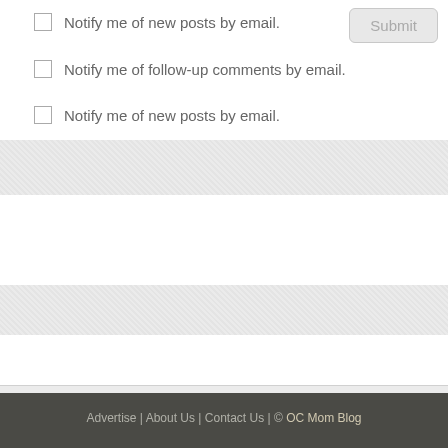Notify me of new posts by email.
Notify me of follow-up comments by email.
Notify me of new posts by email.
[Figure (screenshot): A web form UI showing checkbox options, a Submit button, gray and white banded input areas, on a light gray textured background.]
Advertise | About Us | Contact Us | © OC Mom Blog